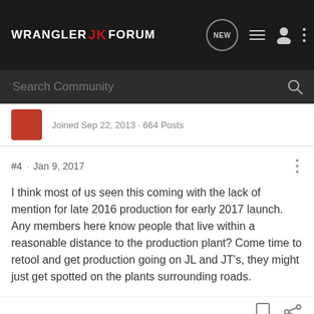WRANGLER JK FORUM
Joined Sep 22, 2013 · 664 Posts
#4 · Jan 9, 2017
I think most of us seen this coming with the lack of mention for late 2016 production for early 2017 launch.
Any members here know people that live within a reasonable distance to the production plant? Come time to retool and get production going on JL and JT's, they might just get spotted on the plants surrounding roads.